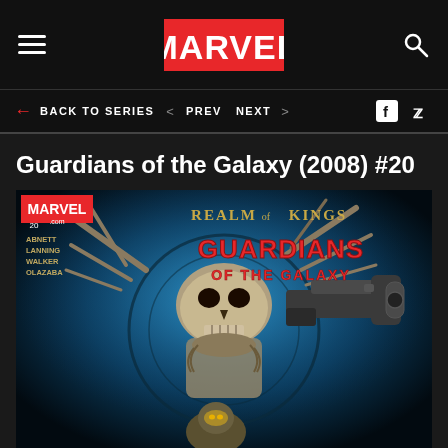MARVEL navigation header with hamburger menu, Marvel logo, and search icon
BACK TO SERIES  < PREV  NEXT >  [Facebook] [Twitter]
Guardians of the Galaxy (2008) #20
[Figure (illustration): Comic book cover for Guardians of the Galaxy (2008) #20. Realm of Kings tie-in. Features a skeletal/undead creature with antlers holding a large gun, and a smaller armored figure (Rocket Raccoon). Credits: Abnett, Lanning, Walker, Olazaba. Marvel.com logo in top left corner, issue number 20.]